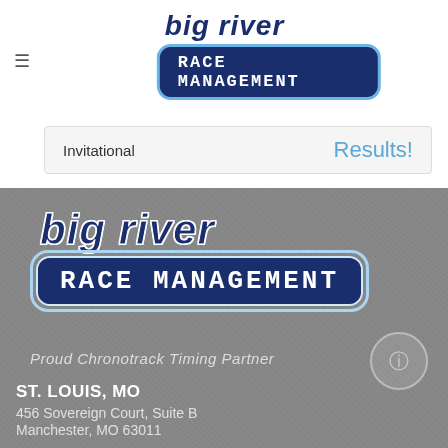[Figure (logo): Big River Race Management logo - top section with dark navy italic 'big river' text above a navy rounded rectangle containing 'RACE MANAGEMENT' in white monospace font, outlined in light blue]
Invitational
Results!
[Figure (logo): Big River Race Management logo - larger version on gray textured background, with 'big river' in navy italic bold and 'RACE MANAGEMENT' in white monospace in navy rounded box with blue outline rings]
Proud Chronotrack Timing Partner
ST. LOUIS, MO
456 Sovereign Court, Suite B
Manchester, MO 63011